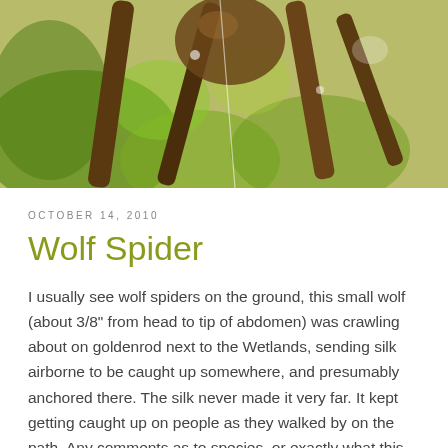[Figure (photo): Close-up macro photograph of a wolf spider on green plant stems (goldenrod), showing brown hairy legs against a green and yellow-green blurred background.]
OCTOBER 14, 2010
Wolf Spider
I usually see wolf spiders on the ground, this small wolf (about 3/8" from head to tip of abdomen) was crawling about on goldenrod next to the Wetlands, sending silk airborne to be caught up somewhere, and presumably anchored there. The silk never made it very far. It kept getting caught up on people as they walked by on the path. Any comments as to species, or exactly what this spider was doing? Read more